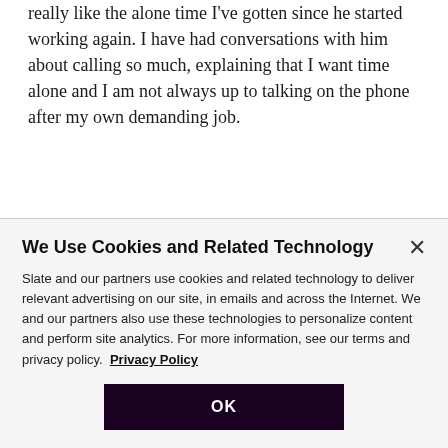really like the alone time I've gotten since he started working again. I have had conversations with him about calling so much, explaining that I want time alone and I am not always up to talking on the phone after my own demanding job.
ADVERTISEMENT
[Figure (other): Purple/dark advertisement banner with decorative imagery and a close (X) button]
We Use Cookies and Related Technology
Slate and our partners use cookies and related technology to deliver relevant advertising on our site, in emails and across the Internet. We and our partners also use these technologies to personalize content and perform site analytics. For more information, see our terms and privacy policy. Privacy Policy
OK